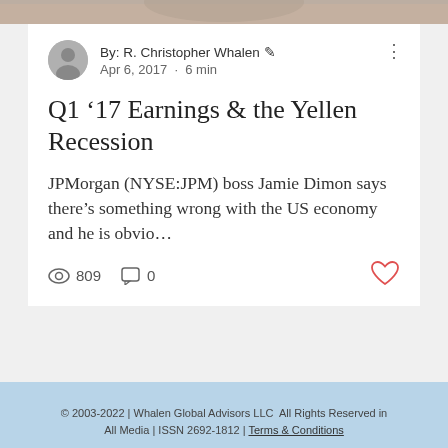[Figure (photo): Top banner image strip showing partial photo of a person]
By: R. Christopher Whalen ✏ Apr 6, 2017 · 6 min
Q1 '17 Earnings & the Yellen Recession
JPMorgan (NYSE:JPM) boss Jamie Dimon says there's something wrong with the US economy and he is obvio…
👁 809   💬 0   ♡
© 2003-2022 | Whalen Global Advisors LLC  All Rights Reserved in All Media | ISSN 2692-1812 | Terms & Conditions
[Figure (infographic): Social media icons: email envelope, Facebook logo, Twitter bird]